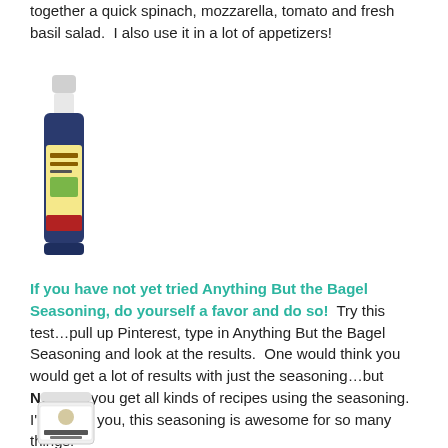together a quick spinach, mozzarella, tomato and fresh basil salad.  I also use it in a lot of appetizers!
[Figure (photo): Bottle of balsamic vinegar dressing product]
If you have not yet tried Anything But the Bagel Seasoning, do yourself a favor and do so!  Try this test…pull up Pinterest, type in Anything But the Bagel Seasoning and look at the results.  One would think you would get a lot of results with just the seasoning…but NOOO…you get all kinds of recipes using the seasoning.  I'm telling you, this seasoning is awesome for so many things!
[Figure (photo): Jar of Anything But the Bagel seasoning product]